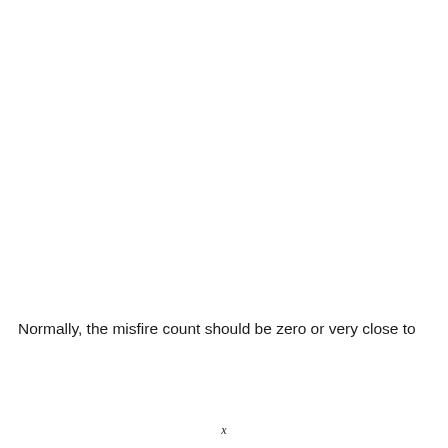Normally, the misfire count should be zero or very close to
x